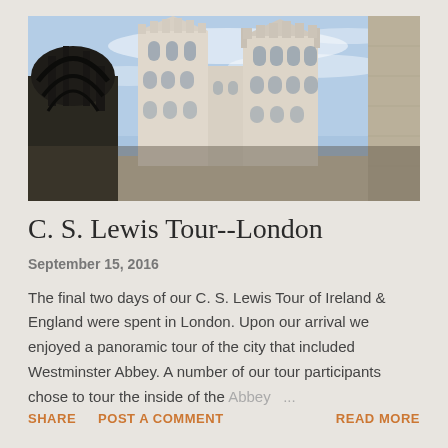[Figure (photo): Upward-angled photograph of Westminster Abbey's Gothic towers against a blue sky, with a dark ornate iron structure/statue visible in the lower left and a stone building on the right edge.]
C. S. Lewis Tour--London
September 15, 2016
The final two days of our C. S. Lewis Tour of Ireland & England were spent in London. Upon our arrival we enjoyed a panoramic tour of the city that included Westminster Abbey. A number of our tour participants chose to tour the inside of the Abbey ...
SHARE  POST A COMMENT  READ MORE